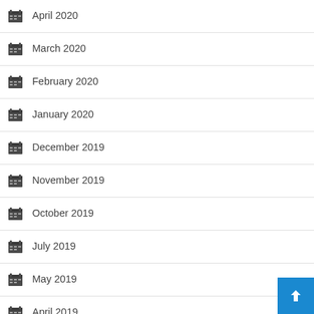April 2020
March 2020
February 2020
January 2020
December 2019
November 2019
October 2019
July 2019
May 2019
April 2019
March 2019
February 2019
January 2019